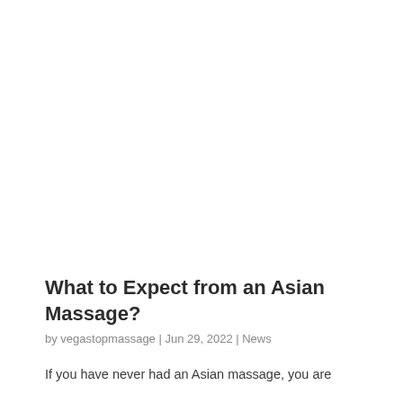What to Expect from an Asian Massage?
by vegastopmassage | Jun 29, 2022 | News
If you have never had an Asian massage, you are